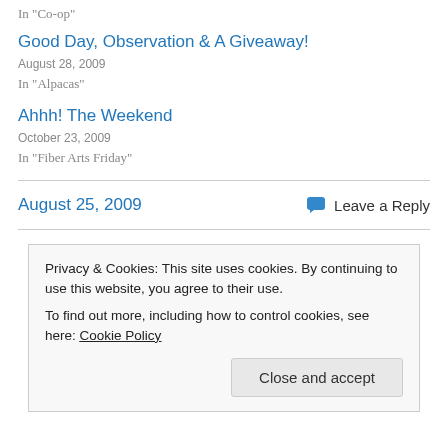In "Co-op"
Good Day, Observation & A Giveaway!
August 28, 2009
In "Alpacas"
Ahhh! The Weekend
October 23, 2009
In "Fiber Arts Friday"
August 25, 2009
Leave a Reply
Privacy & Cookies: This site uses cookies. By continuing to use this website, you agree to their use. To find out more, including how to control cookies, see here: Cookie Policy
Close and accept